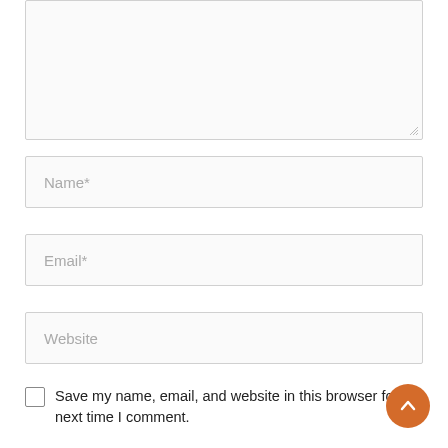[Figure (screenshot): Partially visible textarea input box with resize handle at bottom right, representing a comment form field.]
Name*
Email*
Website
Save my name, email, and website in this browser for the next time I comment.